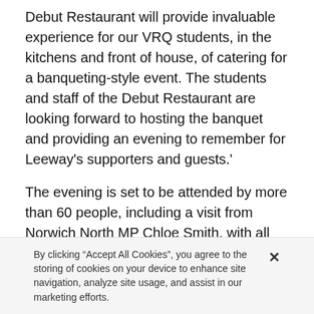Debut Restaurant will provide invaluable experience for our VRQ students, in the kitchens and front of house, of catering for a banqueting-style event. The students and staff of the Debut Restaurant are looking forward to hosting the banquet and providing an evening to remember for Leeway's supporters and guests.'
The evening is set to be attended by more than 60 people, including a visit from Norwich North MP Chloe Smith, with all the proceeds raised from ticket sales and the raffle being donated to Leeway which supports more than 8,000 adults and children every year across Norfolk and Suffolk.
Mandy Proctor, chief executive officer for Leeway, said: 'Without such events taking place awareness and
By clicking “Accept All Cookies”, you agree to the storing of cookies on your device to enhance site navigation, analyze site usage, and assist in our marketing efforts.